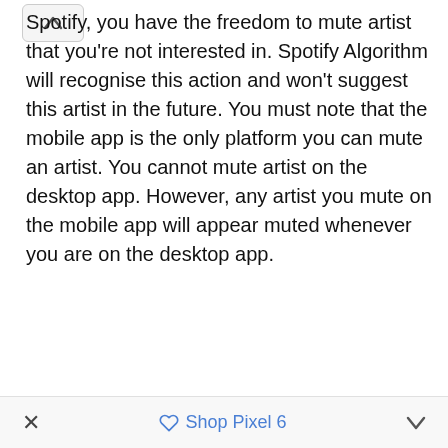Spotify, you have the freedom to mute artist that you're not interested in. Spotify Algorithm will recognise this action and won't suggest this artist in the future. You must note that the mobile app is the only platform you can mute an artist. You cannot mute artist on the desktop app. However, any artist you mute on the mobile app will appear muted whenever you are on the desktop app.
× Shop Pixel 6 ^